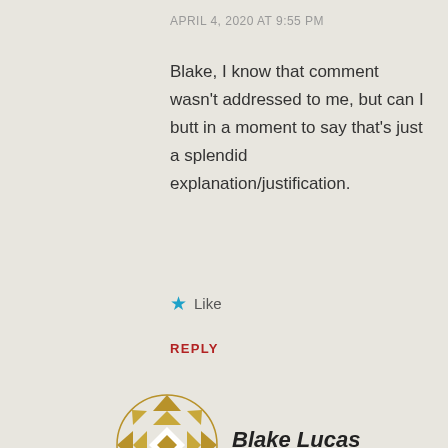APRIL 4, 2020 AT 9:55 PM
Blake, I know that comment wasn't addressed to me, but can I butt in a moment to say that's just a splendid explanation/justification.
★ Like
REPLY
[Figure (logo): Circular diamond/star pattern logo in gold and white]
Blake Lucas
Advertisements
[Figure (infographic): Blue advertisement banner: Need Speed? Get P Pressable, with illustration of person flying]